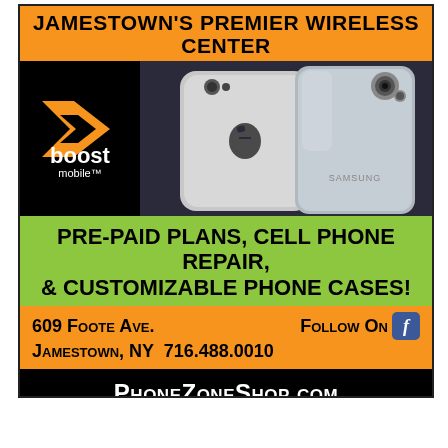JAMESTOWN'S PREMIER WIRELESS CENTER
[Figure (logo): Boost Mobile logo with orange chevron/arrow shape and 'boost mobile' text in white on black background]
[Figure (photo): Two smartphones side by side - an Apple iPhone and a Samsung Galaxy phone on dark background]
PRE-PAID PLANS, CELL PHONE REPAIR, & CUSTOMIZABLE PHONE CASES!
609 Foote Ave.    Follow On [Facebook icon]
Jamestown, NY  716.488.0010
PhoneZoneShop.com